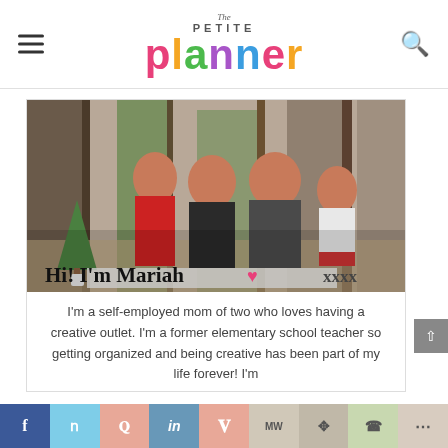The Petite Planner — blog header with navigation
[Figure (photo): Family photo of Mariah with husband and two children outdoors in a forest setting with Christmas trees. Text overlay reads 'Hi! I'm Mariah' with a heart and 'xxxx']
I'm a self-employed mom of two who loves having a creative outlet. I'm a former elementary school teacher so getting organized and being creative has been part of my life forever! I'm
Social share bar: Facebook, Twitter, Reddit, LinkedIn, Pinterest, MixedWith, Mix, WhatsApp, More